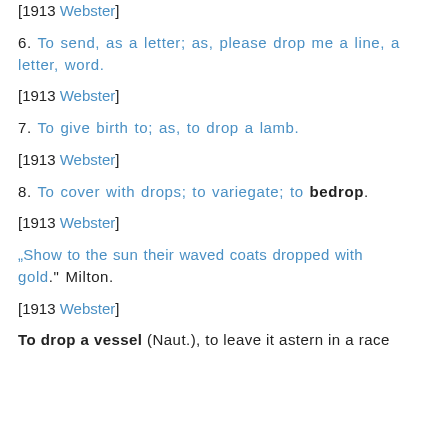[1913 Webster]
6. To send, as a letter; as, please drop me a line, a letter, word.
[1913 Webster]
7. To give birth to; as, to drop a lamb.
[1913 Webster]
8. To cover with drops; to variegate; to bedrop.
[1913 Webster]
„Show to the sun their waved coats dropped with gold.” Milton.
[1913 Webster]
To drop a vessel (Naut.), to leave it astern in a race